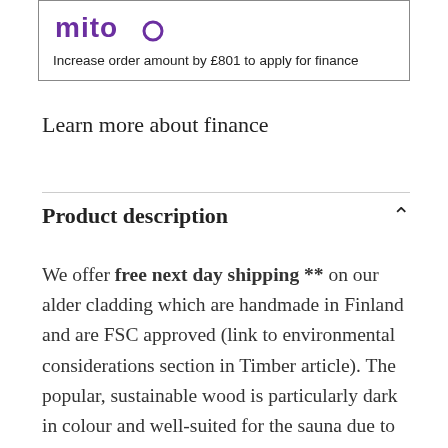[Figure (other): Finance provider logo (partially visible, purple stylized text)]
Increase order amount by £801 to apply for finance
Learn more about finance
Product description
We offer free next day shipping ** on our alder cladding which are handmade in Finland and are FSC approved (link to environmental considerations section in Timber article). The popular, sustainable wood is particularly dark in colour and well-suited for the sauna due to its soft and durable properties and gorgeous